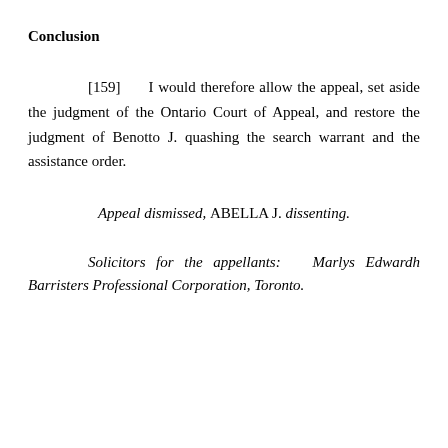Conclusion
[159]      I would therefore allow the appeal, set aside the judgment of the Ontario Court of Appeal, and restore the judgment of Benotto J. quashing the search warrant and the assistance order.
Appeal dismissed, ABELLA J. dissenting.
Solicitors for the appellants:   Marlys Edwardh Barristers Professional Corporation, Toronto.